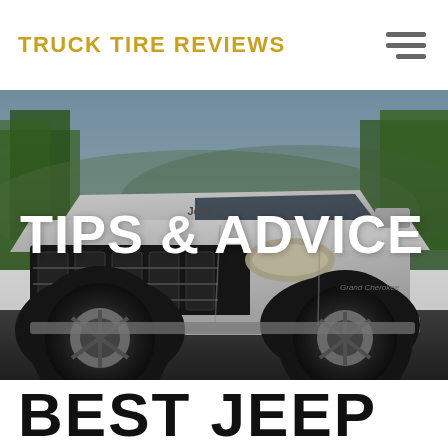TRUCK TIRE REVIEWS
[Figure (photo): A white Jeep Grand Cherokee SUV driving on a road with trees in the background, photographed from a front three-quarter angle]
TIPS & ADVICE
BEST JEEP